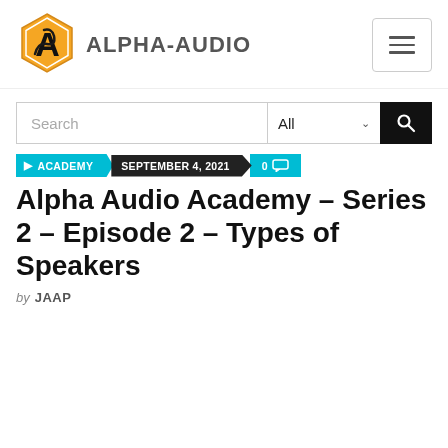ALPHA-AUDIO
[Figure (logo): Alpha-Audio hexagonal logo with yellow/orange color and stylized A with snake]
ACADEMY  SEPTEMBER 4, 2021  0 comments
Alpha Audio Academy – Series 2 – Episode 2 – Types of Speakers
by JAAP